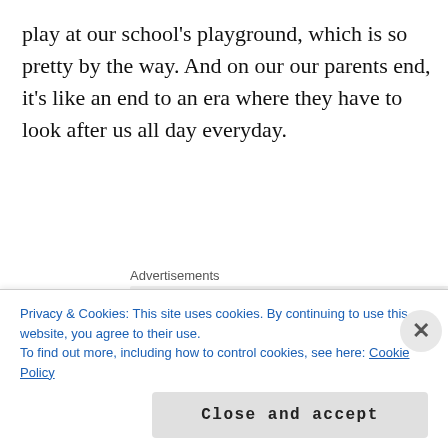play at our school's playground, which is so pretty by the way. And on our our parents end, it's like an end to an era where they have to look after us all day everyday.
Advertisements
[Figure (other): Advertisement banner placeholder with grey background]
Mani: there's lots of things to keep us busy at school like our playground. Hopefully, we'll have a ParkRavdar episode on that soon. They have cars, race
Privacy & Cookies: This site uses cookies. By continuing to use this website, you agree to their use.
To find out more, including how to control cookies, see here: Cookie Policy
Close and accept
Follow